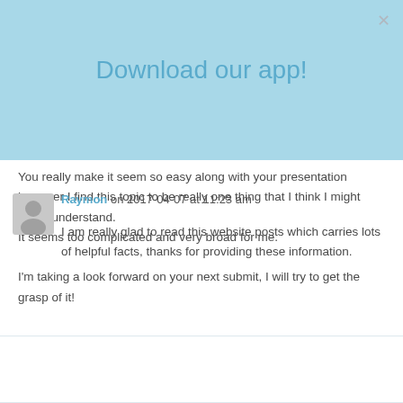Download our app!
You really make it seem so easy along with your presentation however I find this topic to be really one thing that I think I might never understand.
It seems too complicated and very broad for me.

I'm taking a look forward on your next submit, I will try to get the grasp of it!
Raymon on 2017-04-07 at 11:23 am
I am really glad to read this website posts which carries lots of helpful facts, thanks for providing these information.